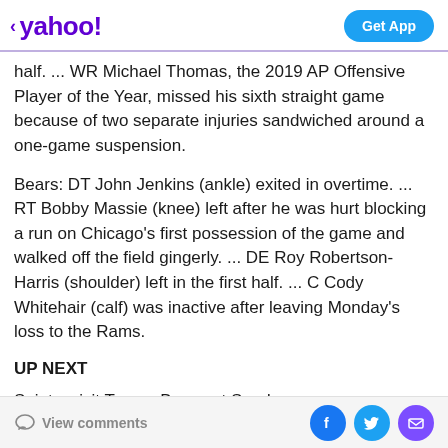< yahoo!   Get App
half. ... WR Michael Thomas, the 2019 AP Offensive Player of the Year, missed his sixth straight game because of two separate injuries sandwiched around a one-game suspension.
Bears: DT John Jenkins (ankle) exited in overtime. ... RT Bobby Massie (knee) left after he was hurt blocking a run on Chicago's first possession of the game and walked off the field gingerly. ... DE Roy Robertson-Harris (shoulder) left in the first half. ... C Cody Whitehair (calf) was inactive after leaving Monday's loss to the Rams.
UP NEXT
Saints: visit Tampa Bay next Sunday.
View comments